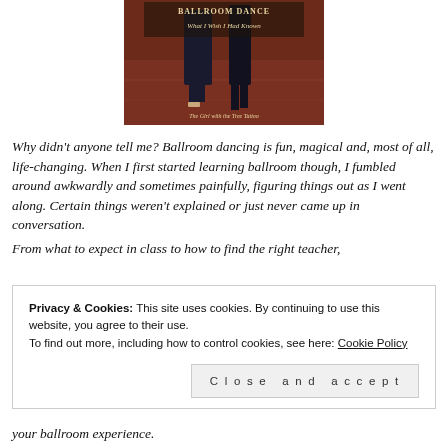[Figure (photo): Book cover image showing ballroom dancers' legs and feet on a dance floor with text overlay 'What I Wish I Had Known' and 'The Girl with the Tree Tattoo']
Why didn't anyone tell me? Ballroom dancing is fun, magical and, most of all, life-changing. When I first started learning ballroom though, I fumbled around awkwardly and sometimes painfully, figuring things out as I went along. Certain things weren't explained or just never came up in conversation.
From what to expect in class to how to find the right teacher,
Privacy & Cookies: This site uses cookies. By continuing to use this website, you agree to their use.
To find out more, including how to control cookies, see here: Cookie Policy
Close and accept
your ballroom experience.